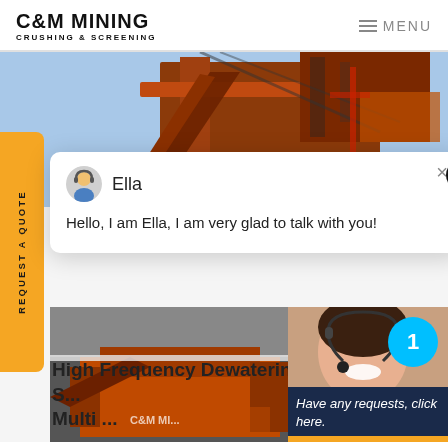C&M MINING CRUSHING & SCREENING | MENU
[Figure (photo): Industrial mining/screening machinery photographed against blue sky, orange/red color]
REQUEST A QUOTE
[Figure (screenshot): Chat popup with avatar icon labeled Ella, message: Hello, I am Ella, I am very glad to talk with you!]
[Figure (photo): Bottom left: orange mining screening equipment with C&M Mining logo watermark]
[Figure (photo): Bottom right: woman with headset (customer support representative) smiling]
Have any requests, click here.
Quotation
High Frequency Dewatering S... Multi ...